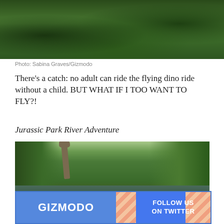[Figure (photo): Top portion of a photo showing dense tropical palm tree foliage with dark green leaves against a dark background]
Photo: Sabina Graves/Gizmodo
There's a catch: no adult can ride the flying dino ride without a child. BUT WHAT IF I TOO WANT TO FLY?!
Jurassic Park River Adventure
[Figure (photo): Photo of the Jurassic Park River Adventure ride at Universal Studios, showing a long-necked dinosaur animatronic rising above a river surrounded by lush green tropical vegetation and rocks]
[Figure (other): Gizmodo Follow Us On Twitter promotional banner with blue background and pink/salmon diagonal stripe pattern on sides]